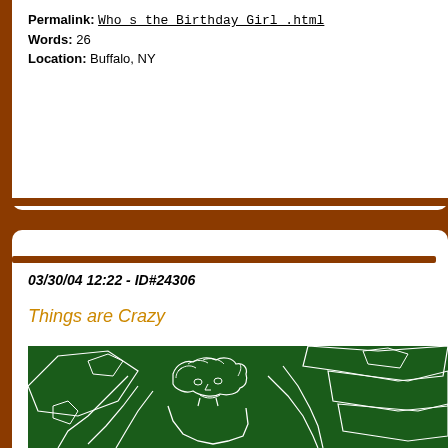Permalink: Who_s_the_Birthday_Girl_.html
Words: 26
Location: Buffalo, NY
03/30/04 12:22 - ID#24306
Things are Crazy
[Figure (illustration): Green background illustration with white line drawing of a person with curly hair surrounded by large leaf or wing shapes, rendered in an outline/sketch style on dark green.]